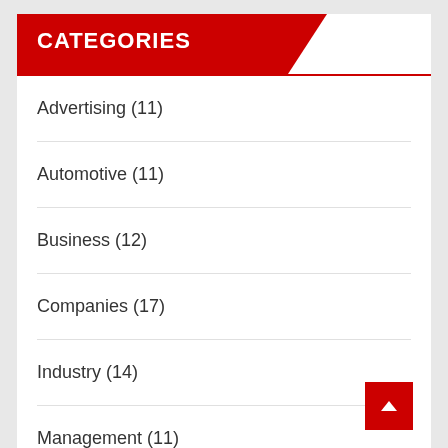CATEGORIES
Advertising (11)
Automotive (11)
Business (12)
Companies (17)
Industry (14)
Management (11)
Marketing (14)